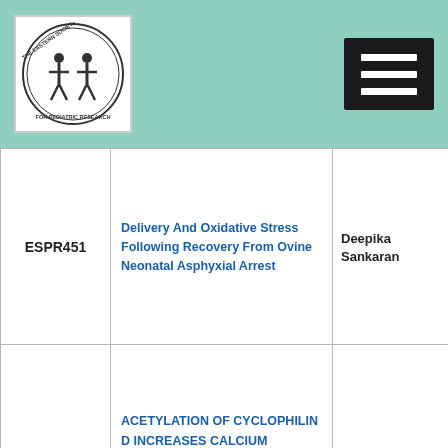[Figure (logo): Eastern Society for Pediatric Research circular logo with figure icon]
| ID | Title | Author |
| --- | --- | --- |
| ESPR451 | Delivery And Oxidative Stress Following Recovery From Ovine Neonatal Asphyxial Arrest | Deepika Sankaran |
| ESPR71 | ACETYLATION OF CYCLOPHILIN D INCREASES CALCIUM SENSITIVITY OF THE PERMEABILITY TRANSITION PORE | George Porter |
| ESPR364 | Addition of pentoxifylline to gentamicin suppresses biomarkers of renal injury and inflammation in neonatal mice with Escherichia coli sepsis | Esther Speer |